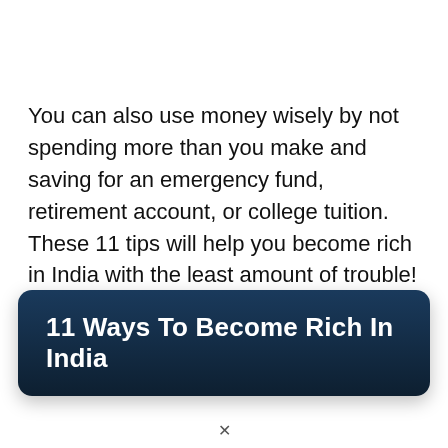You can also use money wisely by not spending more than you make and saving for an emergency fund, retirement account, or college tuition. These 11 tips will help you become rich in India with the least amount of trouble!
11 Ways To Become Rich In India